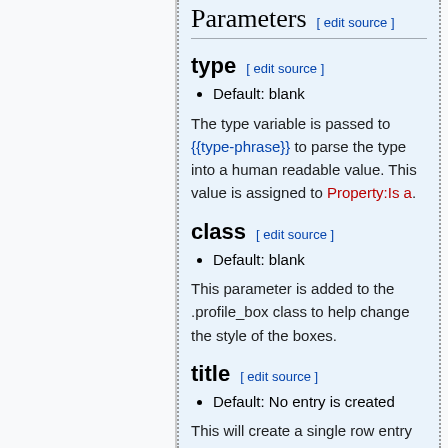Parameters [ edit source ]
type [ edit source ]
Default: blank
The type variable is passed to {{type-phrase}} to parse the type into a human readable value. This value is assigned to Property:Is a.
class [ edit source ]
Default: blank
This parameter is added to the .profile_box class to help change the style of the boxes.
title [ edit source ]
Default: No entry is created
This will create a single row entry in the profile box with the value